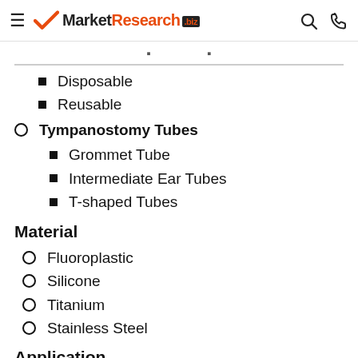MarketResearch.biz
Disposable
Reusable
Tympanostomy Tubes
Grommet Tube
Intermediate Ear Tubes
T-shaped Tubes
Material
Fluoroplastic
Silicone
Titanium
Stainless Steel
Application